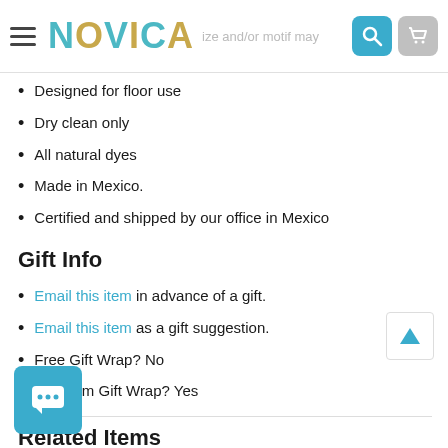NOVICA
Designed for floor use
Dry clean only
All natural dyes
Made in Mexico.
Certified and shipped by our office in Mexico
Gift Info
Email this item in advance of a gift.
Email this item as a gift suggestion.
Free Gift Wrap? No
Premium Gift Wrap? Yes
Related Items
[Figure (photo): Two product thumbnail images of decorative rugs]
[Figure (other): Scroll-up button and chat button UI elements]